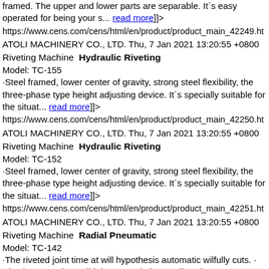framed. The upper and lower parts are separable. It`s easy operated for being your s... [read more]]>
https://www.cens.com/cens/html/en/product/product_main_42249.ht
ATOLI MACHINERY CO., LTD. Thu, 7 Jan 2021 13:20:55 +0800
Riveting Machine  Hydraulic Riveting
Model: TC-155
·Steel framed, lower center of gravity, strong steel flexibility, the three-phase type height adjusting device. It`s specially suitable for the situat... [read more]]>
https://www.cens.com/cens/html/en/product/product_main_42250.ht
ATOLI MACHINERY CO., LTD. Thu, 7 Jan 2021 13:20:55 +0800
Riveting Machine  Hydraulic Riveting
Model: TC-152
·Steel framed, lower center of gravity, strong steel flexibility, the three-phase type height adjusting device. It`s specially suitable for the situat... [read more]]>
https://www.cens.com/cens/html/en/product/product_main_42251.ht
ATOLI MACHINERY CO., LTD. Thu, 7 Jan 2021 13:20:55 +0800
Riveting Machine  Radial Pneumatic
Model: TC-142
·The riveted joint time at will hypothesis automatic wilfully cuts. · Riveting capacity: Solid rivet 8mm below, Hollow rivet 16mm below. Specific... [read more]]>
https://www.cens.com/cens/html/en/product/product_main_42252.ht
ATOLI MACHINERY CO., LTD.